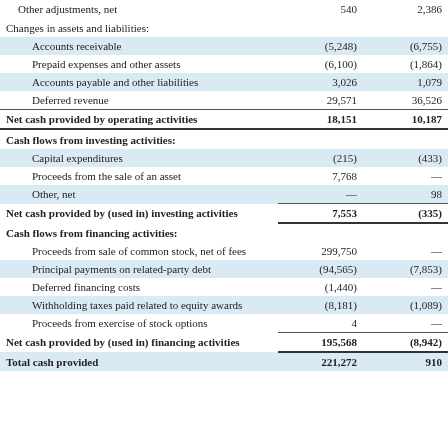|  | Col1 | Col2 |
| --- | --- | --- |
| Other adjustments, net | 540 | 2,386 |
| Changes in assets and liabilities: |  |  |
| Accounts receivable | (5,248) | (6,755) |
| Prepaid expenses and other assets | (6,100) | (1,864) |
| Accounts payable and other liabilities | 3,026 | 1,079 |
| Deferred revenue | 29,571 | 36,526 |
| Net cash provided by operating activities | 18,151 | 10,187 |
| Cash flows from investing activities: |  |  |
| Capital expenditures | (215) | (433) |
| Proceeds from the sale of an asset | 7,768 | — |
| Other, net | — | 98 |
| Net cash provided by (used in) investing activities | 7,553 | (335) |
| Cash flows from financing activities: |  |  |
| Proceeds from sale of common stock, net of fees | 299,750 | — |
| Principal payments on related-party debt | (94,565) | (7,853) |
| Deferred financing costs | (1,440) | — |
| Withholding taxes paid related to equity awards | (8,181) | (1,089) |
| Proceeds from exercise of stock options | 4 | — |
| Net cash provided by (used in) financing activities | 195,568 | (8,942) |
| Total cash provided | 221,272 | 910 |